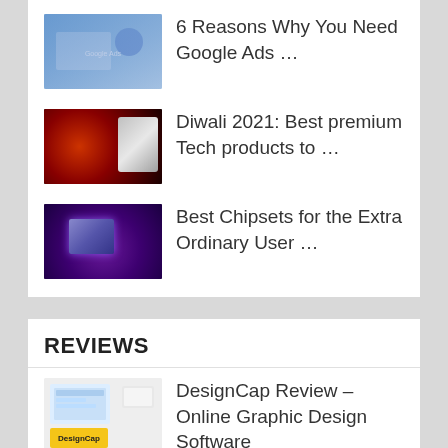6 Reasons Why You Need Google Ads …
Diwali 2021: Best premium Tech products to …
Best Chipsets for the Extra Ordinary User …
REVIEWS
DesignCap Review – Online Graphic Design Software
Review Regor Wall Charger